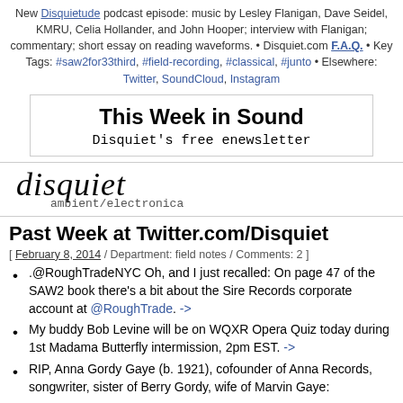New Disquietude podcast episode: music by Lesley Flanigan, Dave Seidel, KMRU, Celia Hollander, and John Hooper; interview with Flanigan; commentary; short essay on reading waveforms. • Disquiet.com F.A.Q. • Key Tags: #saw2for33third, #field-recording, #classical, #junto • Elsewhere: Twitter, SoundCloud, Instagram
[Figure (other): Newsletter promotional box: 'This Week in Sound — Disquiet's free enewsletter']
[Figure (logo): Disquiet logo in italic serif script with subtitle 'ambient/electronica']
Past Week at Twitter.com/Disquiet
[ February 8, 2014 / Department: field notes / Comments: 2 ]
.@RoughTradeNYC Oh, and I just recalled: On page 47 of the SAW2 book there's a bit about the Sire Records corporate account at @RoughTrade. ->
My buddy Bob Levine will be on WQXR Opera Quiz today during 1st Madama Butterfly intermission, 2pm EST. ->
RIP, Anna Gordy Gaye (b. 1921), cofounder of Anna Records, songwriter, sister of Berry Gordy, wife of Marvin Gaye: